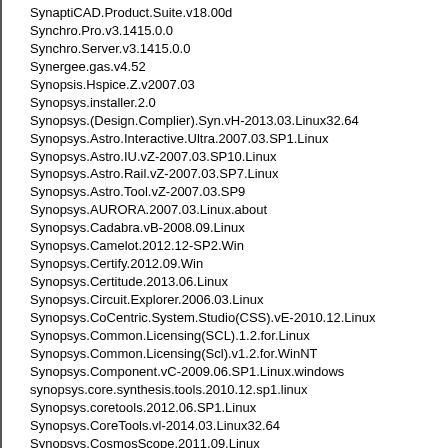SynaptiCAD.Product.Suite.v18.00d
Synchro.Pro.v3.1415.0.0
Synchro.Server.v3.1415.0.0
Synergee.gas.v4.52
Synopsis.Hspice.Z.v2007.03
Synopsys.installer.2.0
Synopsys.(Design.Complier).Syn.vH-2013.03.Linux32.64
Synopsys.Astro.Interactive.Ultra.2007.03.SP1.Linux
Synopsys.Astro.IU.vZ-2007.03.SP10.Linux
Synopsys.Astro.Rail.vZ-2007.03.SP7.Linux
Synopsys.Astro.Tool.vZ-2007.03.SP9
Synopsys.AURORA.2007.03.Linux.about
Synopsys.Cadabra.vB-2008.09.Linux
Synopsys.Camelot.2012.12-SP2.Win
Synopsys.Certify.2012.09.Win
Synopsys.Certitude.2013.06.Linux
Synopsys.Circuit.Explorer.2006.03.Linux
Synopsys.CoCentric.System.Studio(CSS).vE-2010.12.Linux
Synopsys.Common.Licensing(SCL).1.2.for.Linux
Synopsys.Common.Licensing(Scl).v1.2.for.WinNT
Synopsys.Component.vC-2009.06.SP1.Linux.windows
synopsys.core.synthesis.tools.2010.12.sp1.linux
Synopsys.coretools.2012.06.SP1.Linux
Synopsys.CoreTools.vl-2014.03.Linux32.64
Synopsys.CosmosScope.2011.09.Linux
Synopsys.Cosmosscope.vH-2013.03.SP2.Windows
Synopsys.CSS.vG-2012.03.SP2.Linux
synopsys.Custom.Designer.v2012
Synopsys.Customdesigner.vC-2009.06.Linux
Synopsys.Customexp.vG-2012.06.SP1.Linux32.64.windows